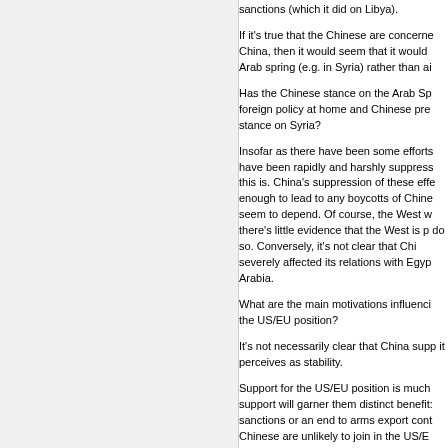sanctions (which it did on Libya).
If it's true that the Chinese are concerned about China, then it would seem that it would Arab spring (e.g. in Syria) rather than ai
Has the Chinese stance on the Arab Sp foreign policy at home and Chinese pre stance on Syria?
Insofar as there have been some efforts have been rapidly and harshly suppress this is. China's suppression of these effe enough to lead to any boycotts of Chine seem to depend. Of course, the West w there's little evidence that the West is p do so. Conversely, it's not clear that Chi severely affected its relations with Egyp Arabia.
What are the main motivations influenci the US/EU position?
It's not necessarily clear that China supp it perceives as stability.
Support for the US/EU position is much support will garner them distinct benefits sanctions or an end to arms export cont Chinese are unlikely to join in the US/E
At the same time, it's also important to c sanctions against Syria necessarily is th China's longstanding emphasis on non-